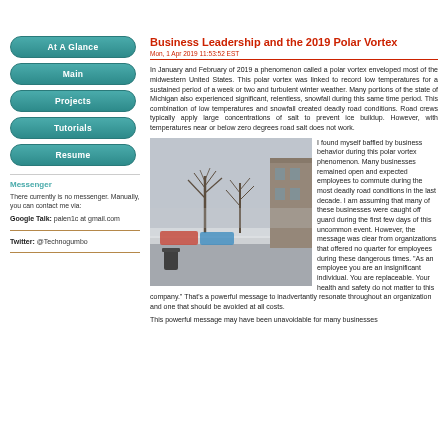At A Glance
Main
Projects
Tutorials
Resume
Messenger
There currently is no messenger. Manually, you can contact me via:
Google Talk: palen1c at gmail.com
Twitter: @Technogumbo
Business Leadership and the 2019 Polar Vortex
Mon, 1 Apr 2019 11:53:52 EST
In January and February of 2019 a phenomenon called a polar vortex enveloped most of the midwestern United States. This polar vortex was linked to record low temperatures for a sustained period of a week or two and turbulent winter weather. Many portions of the state of Michigan also experienced significant, relentless, snowfall during this same time period. This combination of low temperatures and snowfall created deadly road conditions. Road crews typically apply large concentrations of salt to prevent ice buildup. However, with temperatures near or below zero degrees road salt does not work.
[Figure (photo): A snowy parking lot scene with bare trees and a building in the background; a trash can is in the foreground.]
I found myself baffled by business behavior during this polar vortex phenomenon. Many businesses remained open and expected employees to commute during the most deadly road conditions in the last decade. I am assuming that many of these businesses were caught off guard during the first few days of this uncommon event. However, the message was clear from organizations that offered no quarter for employees during these dangerous times. "As an employee you are an insignificant individual. You are replaceable. Your health and safety do not matter to this company." That's a powerful message to inadvertantly resonate throughout an organization and one that should be avoided at all costs.
This powerful message may have been unavoidable for many businesses